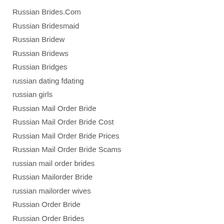Russian Brides.Com
Russian Bridesmaid
Russian Bridew
Russian Bridews
Russian Bridges
russian dating fdating
russian girls
Russian Mail Order Bride
Russian Mail Order Bride Cost
Russian Mail Order Bride Prices
Russian Mail Order Bride Scams
russian mail order brides
Russian Mailorder Bride
russian mailorder wives
Russian Order Bride
Russian Order Brides
Russian Wife